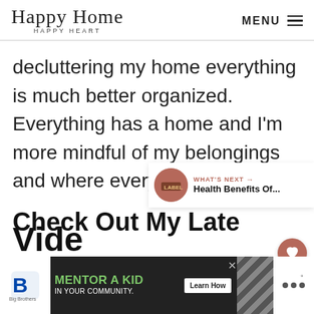Happy Home Happy Heart — MENU
decluttering my home everything is much better organized. Everything has a home and I'm more mindful of my belongings and where everything is located.
Check Out My Late...
[Figure (other): What's Next promo: Health Benefits Of...]
[Figure (other): Advertisement banner: Big Brothers Big Sisters — MENTOR A KID IN YOUR COMMUNITY. Learn How]
[Figure (other): Small widget with dots/degree symbol on right side]